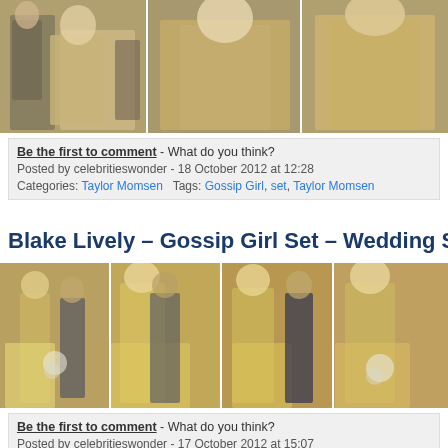[Figure (photo): Three photos of Taylor Momsen on Gossip Girl set wearing a gold/beige sequined dress, with sunglasses and long blonde hair]
Be the first to comment - What do you think?
Posted by celebritieswonder - 18 October 2012 at 12:28
Categories: Taylor Momsen   Tags: Gossip Girl, set, Taylor Momsen
Blake Lively – Gossip Girl Set – Wedding S
[Figure (photo): Four photos of Blake Lively on Gossip Girl set wearing a gold wedding dress and holding a bouquet of white flowers]
Be the first to comment - What do you think?
Posted by celebritieswonder - 17 October 2012 at 15:07